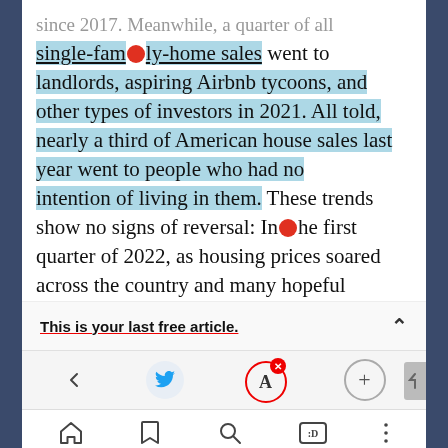since 2017. Meanwhile, a quarter of all single-family-home sales went to landlords, aspiring Airbnb tycoons, and other types of investors in 2021. All told, nearly a third of American house sales last year went to people who had no intention of living in them. These trends show no signs of reversal: In the first quarter of 2022, as housing prices soared across the country and many hopeful
This is your last free article.
[Figure (screenshot): Mobile browser toolbar with Twitter share icon, Atlantic (A) icon with red X badge, and plus (+) circle icon]
[Figure (screenshot): Mobile browser bottom navigation bar with home, bookmark, search, reader view, and more (three dots) icons]